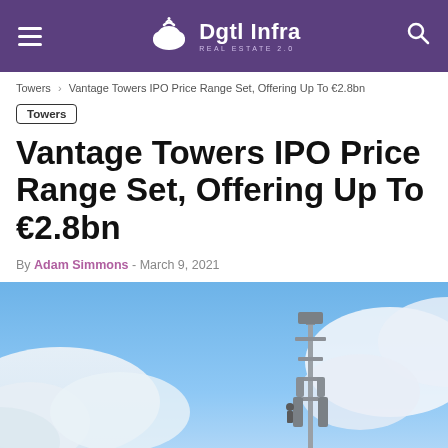Dgtl Infra Real Estate 2.0
Towers › Vantage Towers IPO Price Range Set, Offering Up To €2.8bn
Towers
Vantage Towers IPO Price Range Set, Offering Up To €2.8bn
By Adam Simmons - March 9, 2021
[Figure (photo): Cell tower against a blue sky with clouds]